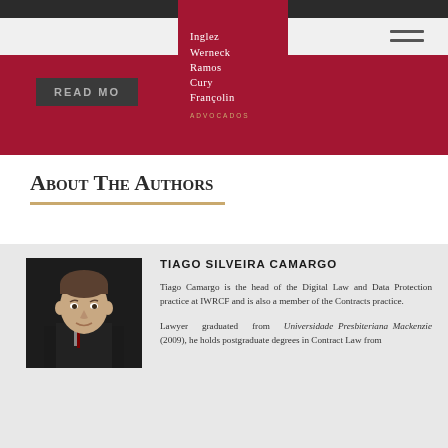[Figure (logo): Inglez Werneck Ramos Cury Françolin Advocados law firm logo on crimson background]
About The Authors
[Figure (photo): Portrait photo of Tiago Silveira Camargo, a man in a dark suit]
TIAGO SILVEIRA CAMARGO
Tiago Camargo is the head of the Digital Law and Data Protection practice at IWRCF and is also a member of the Contracts practice.
Lawyer graduated from Universidade Presbiteriana Mackenzie (2009), he holds postgraduate degrees in Contract Law from